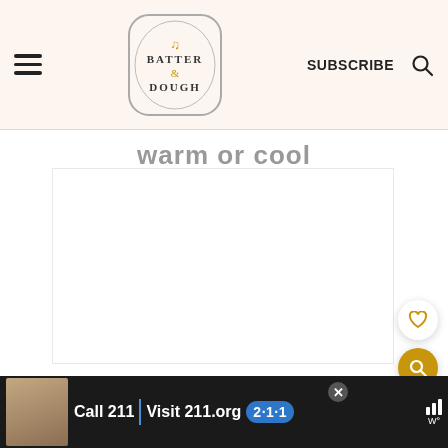Batter & Dough — SUBSCRIBE
warm or cool
[Figure (photo): White/blank image area, content not loaded]
Call 211 | Visit 211.org 2-1-1 Get Connected. Get Help.